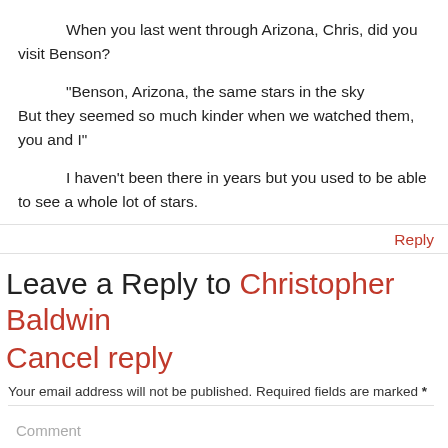When you last went through Arizona, Chris, did you visit Benson?
“Benson, Arizona, the same stars in the sky But they seemed so much kinder when we watched them, you and I”
I haven’t been there in years but you used to be able to see a whole lot of stars.
Reply
Leave a Reply to Christopher Baldwin Cancel reply
Your email address will not be published. Required fields are marked *
Comment